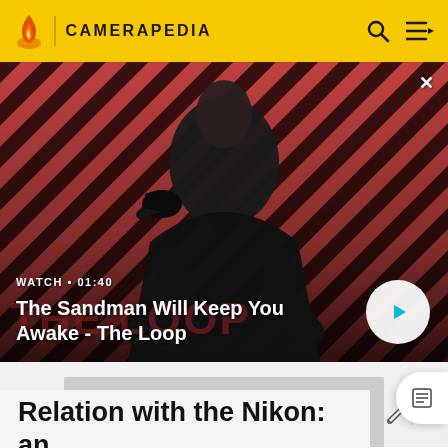CAMERAPEDIA
[Figure (screenshot): Video banner showing a person in black with a raven on shoulder against a red diagonal striped background. Title 'The Sandman Will Keep You Awake - The Loop'. Watch duration 01:40. Play button on right.]
WATCH • 01:40
The Sandman Will Keep You Awake - The Loop
ADVERTISEMENT
Relation with the Nikon: an annoyed copy?